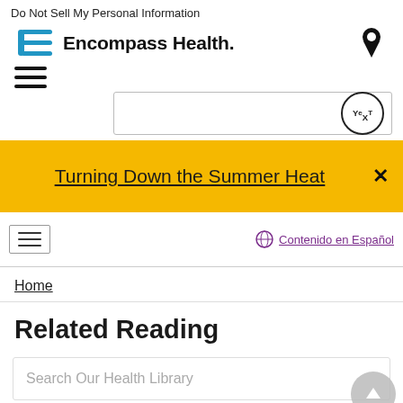Do Not Sell My Personal Information
[Figure (logo): Encompass Health logo with blue icon and bold text]
[Figure (other): Location pin icon (black)]
[Figure (other): Hamburger menu icon (three horizontal lines)]
[Figure (other): Search box with Yext badge]
Turning Down the Summer Heat
[Figure (other): Navigation bar with hamburger and Contenido en Español link]
Home
Related Reading
Search Our Health Library